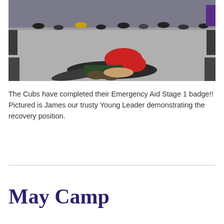[Figure (photo): Photo of a person in a red top lying on the floor in the recovery position on a grey floor, with children standing around watching in a circle.]
The Cubs have completed their Emergency Aid Stage 1 badge!! Pictured is James our trusty Young Leader demonstrating the recovery position.
May Camp